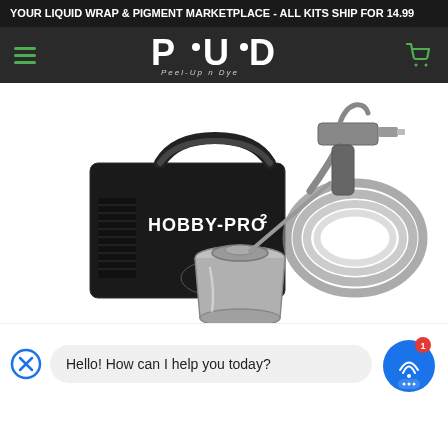YOUR LIQUID WRAP & PIGMENT MARKETPLACE - ALL KITS SHIP FOR 14.99
[Figure (logo): PUD Peel-Up n Dye logo with hamburger menu icon on left and shopping cart icon on right, on dark background]
[Figure (photo): Fuji Spray Hobby-Pro 2 HVLP spray system with turbine, spray gun, hose, and metal cup on white background]
Hello! How can I help you today?